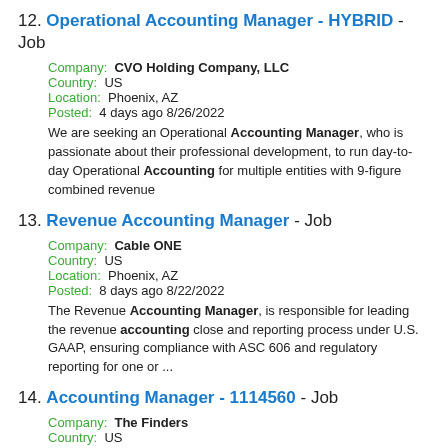12. Operational Accounting Manager - HYBRID - Job
Company: CVO Holding Company, LLC
Country: US
Location: Phoenix, AZ
Posted: 4 days ago 8/26/2022
We are seeking an Operational Accounting Manager, who is passionate about their professional development, to run day-to-day Operational Accounting for multiple entities with 9-figure combined revenue
13. Revenue Accounting Manager - Job
Company: Cable ONE
Country: US
Location: Phoenix, AZ
Posted: 8 days ago 8/22/2022
The Revenue Accounting Manager, is responsible for leading the revenue accounting close and reporting process under U.S. GAAP, ensuring compliance with ASC 606 and regulatory reporting for one or ...
14. Accounting Manager - 1114560 - Job
Company: The Finders
Country: US